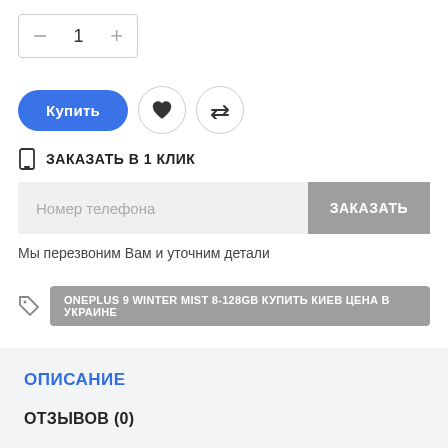- 1 +
[Figure (screenshot): Buy button with heart and compare icons]
ЗАКАЗАТЬ В 1 КЛИК
Номер телефона
ЗАКАЗАТЬ
Мы перезвоним Вам и уточним детали
ONEPLUS 9 WINTER MIST 8-128GB КУПИТЬ КИЕВ ЦЕНА В УКРАИНЕ
ОПИСАНИЕ
ОТЗЫВОВ (0)